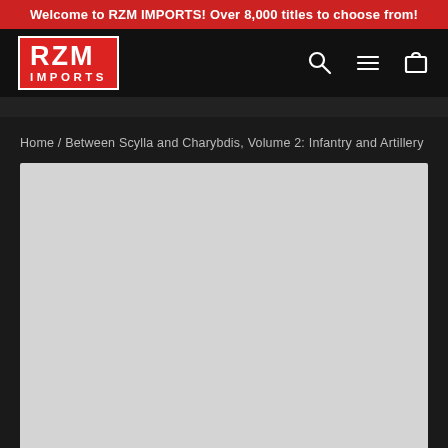Welcome to RZM IMPORTS! Over 8,000 titles to choose from!
[Figure (logo): RZM Imports logo — red box with white border, bold white text 'RZM' on top line and 'IMPORTS' on bottom line]
Home / Between Scylla and Charybdis, Volume 2: Infantry and Artillery
[Figure (photo): Product image placeholder — light gray rectangle]